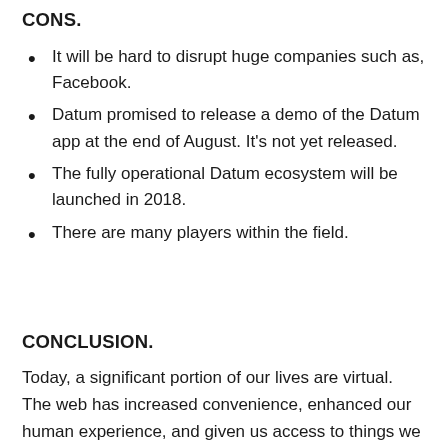CONS.
It will be hard to disrupt huge companies such as, Facebook.
Datum promised to release a demo of the Datum app at the end of August. It's not yet released.
The fully operational Datum ecosystem will be launched in 2018.
There are many players within the field.
CONCLUSION.
Today, a significant portion of our lives are virtual. The web has increased convenience, enhanced our human experience, and given us access to things we never before thought possible.